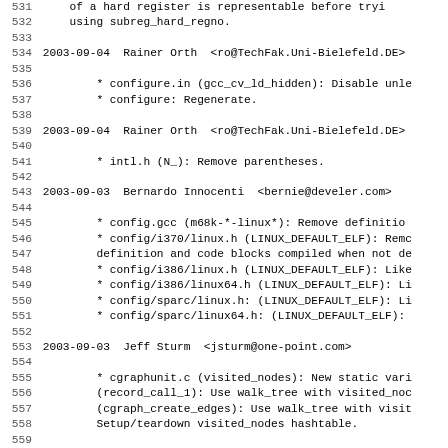531     of a hard register is representable before trying
532     using subreg_hard_regno.
533
534 2003-09-04  Rainer Orth  <ro@TechFak.Uni-Bielefeld.DE>
535
536         * configure.in (gcc_cv_ld_hidden): Disable unle
537         * configure: Regenerate.
538
539 2003-09-04  Rainer Orth  <ro@TechFak.Uni-Bielefeld.DE>
540
541         * intl.h (N_): Remove parentheses.
542
543 2003-09-03  Bernardo Innocenti  <bernie@develer.com>
544
545         * config.gcc (m68k-*-linux*): Remove definitio
546         * config/i370/linux.h (LINUX_DEFAULT_ELF): Remc
547         definition and code blocks compiled when not de
548         * config/i386/linux.h (LINUX_DEFAULT_ELF): Like
549         * config/i386/linux64.h (LINUX_DEFAULT_ELF): Li
550         * config/sparc/linux.h: (LINUX_DEFAULT_ELF): Li
551         * config/sparc/linux64.h: (LINUX_DEFAULT_ELF):
552
553 2003-09-03  Jeff Sturm  <jsturm@one-point.com>
554
555         * cgraphunit.c (visited_nodes): New static vari
556         (record_call_1): Use walk_tree with visited_noc
557         (cgraph_create_edges): Use walk_tree with visit
558         Setup/teardown visited_nodes hashtable.
559
560 2003-09-03  Roger Sayle  <roger@eyesopen.com>
561
562         * toplev.c (flag_rounding_math): New global var